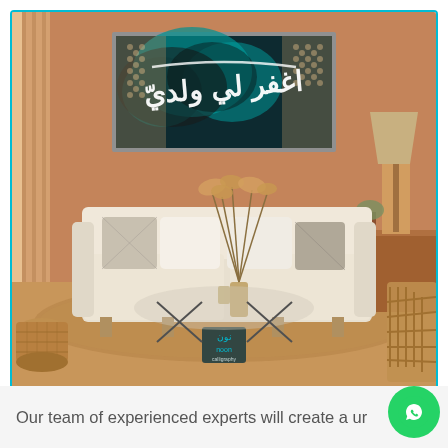[Figure (photo): Interior room scene with a warm brown wall, a white sofa with decorative pillows, a glass coffee table with a vase of pampas grass, a rattan chair on the right, a table lamp on a sideboard on the right, a woven basket on the left, and a framed Islamic calligraphy canvas artwork hung on the wall showing Arabic text in white on a teal and dark abstract background. The canvas frame is grey/silver. A 'noon' brand watermark/logo appears on the image. The overall aesthetic is modern bohemian/Scandinavian.]
Our team of experienced experts will create a ur